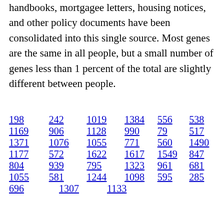handbooks, mortgagee letters, housing notices, and other policy documents have been consolidated into this single source. Most genes are the same in all people, but a small number of genes less than 1 percent of the total are slightly different between people.
198 242 1019 1384 556 538 1169 906 1128 990 79 517 1371 1076 1055 771 560 1490 1177 572 1622 1617 1549 847 804 939 795 1323 961 681 1055 581 1244 1098 595 285 696 1307 1133